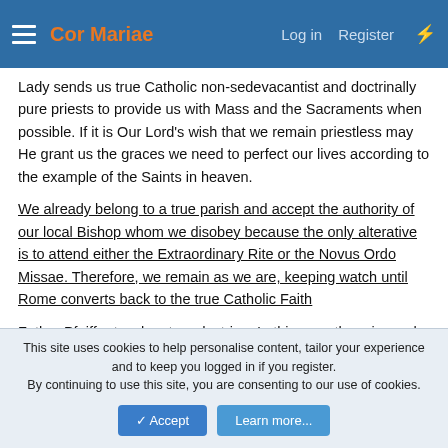Cor Mariae | Log in | Register
Lady sends us true Catholic non-sedevacantist and doctrinally pure priests to provide us with Mass and the Sacraments when possible. If it is Our Lord's wish that we remain priestless may He grant us the graces we need to perfect our lives according to the example of the Saints in heaven.
We already belong to a true parish and accept the authority of our local Bishop whom we disobey because the only alterative is to attend either the Extraordinary Rite or the Novus Ordo Missae. Therefore, we remain as we are, keeping watch until Rome converts back to the true Catholic Faith
Father Pfeiffer teaches true doctrine. In this case there is much more to be considered. Having gone through this experience before under
This site uses cookies to help personalise content, tailor your experience and to keep you logged in if you register.
By continuing to use this site, you are consenting to our use of cookies.